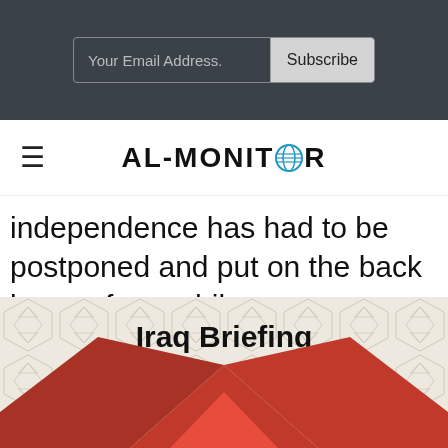Your Email Address. Subscribe
AL-MONITOR
independence has had to be postponed and put on the back burner for a while.
[Figure (illustration): Iraq Briefing newsletter banner with geometric pattern background and red arrow shape pointing upward]